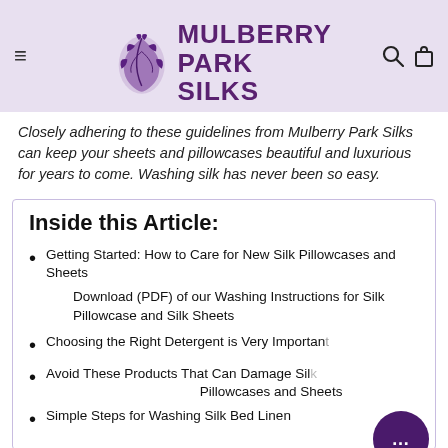Mulberry Park Silks
Closely adhering to these guidelines from Mulberry Park Silks can keep your sheets and pillowcases beautiful and luxurious for years to come. Washing silk has never been so easy.
Inside this Article:
Getting Started: How to Care for New Silk Pillowcases and Sheets
Download (PDF) of our Washing Instructions for Silk Pillowcase and Silk Sheets
Choosing the Right Detergent is Very Important
Avoid These Products That Can Damage Silk Pillowcases and Sheets
Simple Steps for Washing Silk Bed Linen